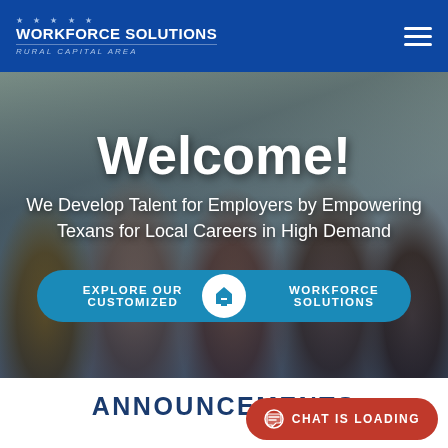WORKFORCE SOLUTIONS Rural Capital Area — navigation header with hamburger menu
Welcome!
We Develop Talent for Employers by Empowering Texans for Local Careers in High Demand
EXPLORE OUR CUSTOMIZED WORKFORCE SOLUTIONS
ANNOUNCEMENTS
Rural Capital Area...
CHAT IS LOADING